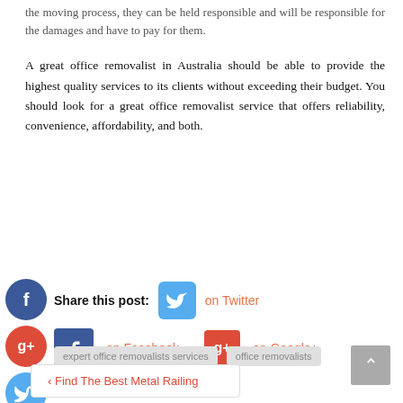the moving process, they can be held responsible and will be responsible for the damages and have to pay for them.
A great office removalist in Australia should be able to provide the highest quality services to its clients without exceeding their budget. You should look for a great office removalist service that offers reliability, convenience, affordability, and both.
Share this post: on Twitter on Facebook on Google+
expert office removalists services
office removalists
‹ Find The Best Metal Railing